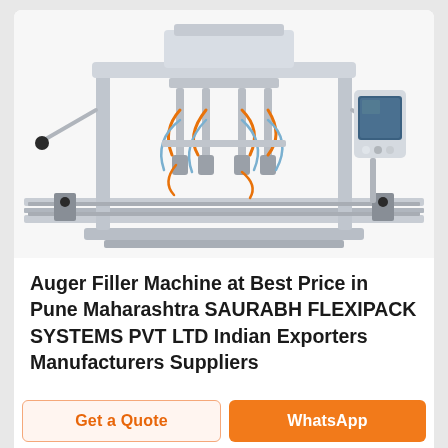[Figure (photo): Industrial auger filler machine — a stainless steel liquid/paste filling machine with multiple filling nozzles, orange pneumatic tubing, a conveyor rail system, and a touchscreen control panel on the right side. White background product photo.]
Auger Filler Machine at Best Price in Pune Maharashtra SAURABH FLEXIPACK SYSTEMS PVT LTD Indian Exporters Manufacturers Suppliers
Get a Quote
WhatsApp